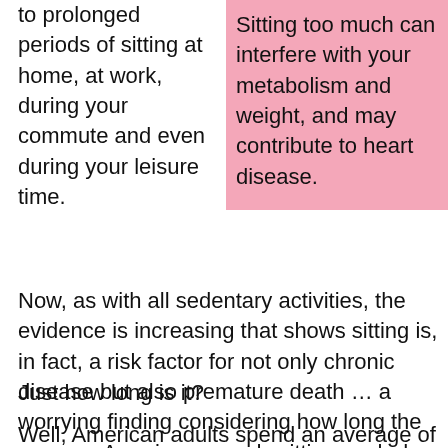to prolonged periods of sitting at home, at work, during your commute and even during your leisure time.
[Figure (other): Pink highlighted text box: Sitting too much can interfere with your metabolism and weight, and may contribute to heart disease.]
Now, as with all sedentary activities, the evidence is increasing that shows sitting is, in fact, a risk factor for not only chronic disease but also premature death … a worrying finding considering how long the average American spends sitting each day.
Just how long is it?
Well, American adults spend an average of more